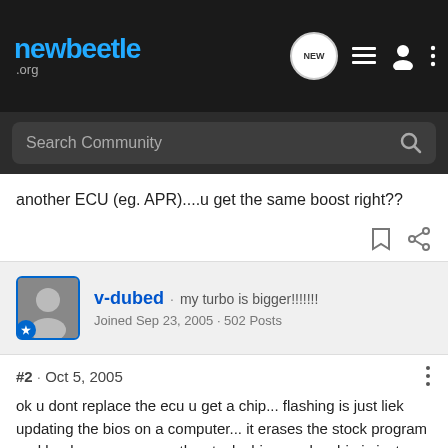newbeetle.org
Search Community
another ECU (eg. APR)....u get the same boost right??
v-dubed · my turbo is bigger!!!!!!! Joined Sep 23, 2005 · 502 Posts
#2 · Oct 5, 2005
ok u dont replace the ecu u get a chip... flashing is just liek updating the bios on a computer... it erases the stock program and loads a new one on the stock chip... and a chip is just a chip with th program already on and u decoder the old one and